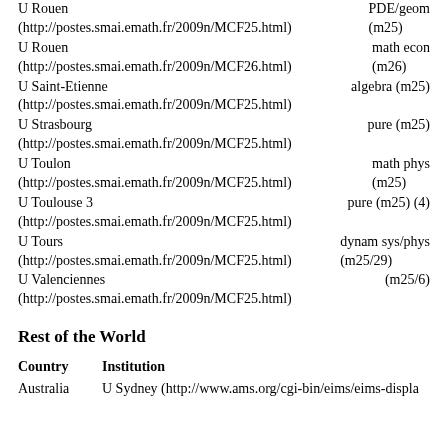U Rouen (http://postes.smai.emath.fr/2009n/MCF25.html) PDE/geom (m25)
U Rouen (http://postes.smai.emath.fr/2009n/MCF26.html) math econ (m26)
U Saint-Etienne (http://postes.smai.emath.fr/2009n/MCF25.html) algebra (m25)
U Strasbourg (http://postes.smai.emath.fr/2009n/MCF25.html) pure (m25)
U Toulon (http://postes.smai.emath.fr/2009n/MCF25.html) math phys (m25)
U Toulouse 3 (http://postes.smai.emath.fr/2009n/MCF25.html) pure (m25) (4)
U Tours (http://postes.smai.emath.fr/2009n/MCF25.html) dynam sys/phys (m25/29)
U Valenciennes (http://postes.smai.emath.fr/2009n/MCF25.html) (m25/6)
Rest of the World
| Country | Institution |
| --- | --- |
| Australia | U Sydney (http://www.ams.org/cgi-bin/eims/eims-displa |